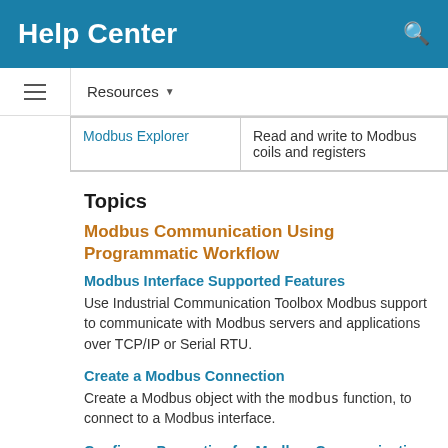Help Center
| Modbus Explorer | Read and write to Modbus coils and registers |
Topics
Modbus Communication Using Programmatic Workflow
Modbus Interface Supported Features
Use Industrial Communication Toolbox Modbus support to communicate with Modbus servers and applications over TCP/IP or Serial RTU.
Create a Modbus Connection
Create a Modbus object with the modbus function, to connect to a Modbus interface.
Configure Properties for Modbus Communication
Use properties to set up Modbus communication during or after object creation.
Read Data from a Modbus Server